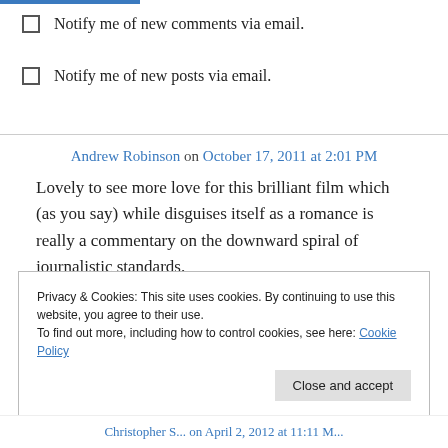Notify me of new comments via email.
Notify me of new posts via email.
Andrew Robinson on October 17, 2011 at 2:01 PM
Lovely to see more love for this brilliant film which (as you say) while disguises itself as a romance is really a commentary on the downward spiral of journalistic standards.
Privacy & Cookies: This site uses cookies. By continuing to use this website, you agree to their use.
To find out more, including how to control cookies, see here: Cookie Policy
Close and accept
Christopher S... on April 2, 2012 at 11:11 M...